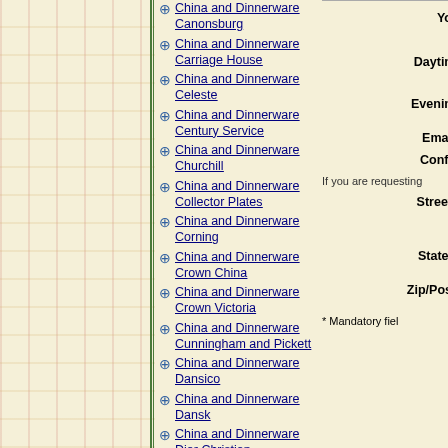China and Dinnerware Canonsburg
China and Dinnerware Carriage House
China and Dinnerware Celeste
China and Dinnerware Century Service
China and Dinnerware Churchill
China and Dinnerware Collector Plates
China and Dinnerware Corning
China and Dinnerware Crown China
China and Dinnerware Crown Victoria
China and Dinnerware Cunningham and Pickett
China and Dinnerware Dansico
China and Dinnerware Dansk
China and Dinnerware Dior Christian
China and Dinnerware England
China and Dinnerware Fine China of Japan
China and Dinnerware Fitz and Floyd
Yo
Daytin
Evenin
Emai
Confi
If you are requesting
Street
State/
Zip/Pos
* Mandatory fiel